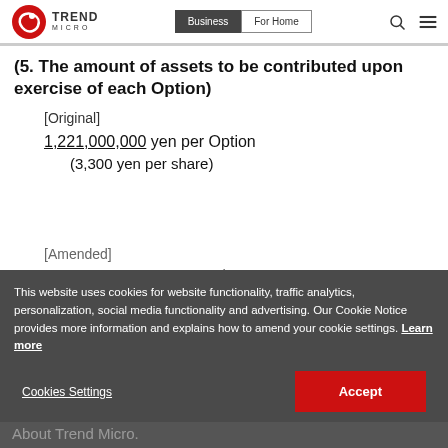Trend Micro — Business | For Home navigation bar
(5. The amount of assets to be contributed upon exercise of each Option)
[Original]
1,221,000,000 yen per Option
(3,300 yen per share)
[Amended]
This website uses cookies for website functionality, traffic analytics, personalization, social media functionality and advertising. Our Cookie Notice provides more information and explains how to amend your cookie settings. Learn more
About Trend Micro.